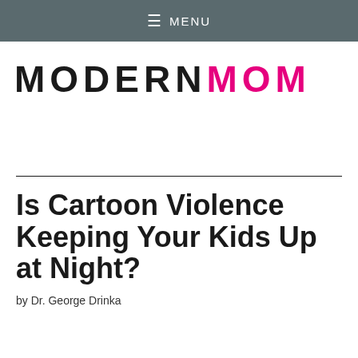≡ MENU
MODERNMOM
Is Cartoon Violence Keeping Your Kids Up at Night?
by Dr. George Drinka